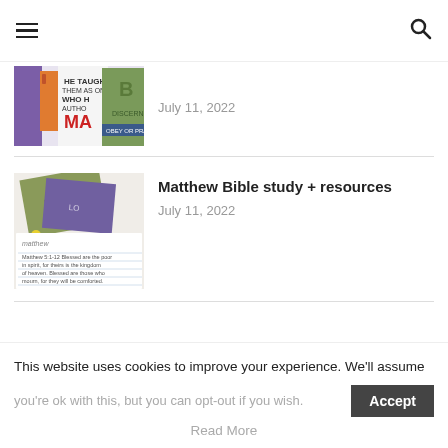Navigation header with hamburger menu and search icon
[Figure (photo): Books about the Book of Mark spread on a table, partially visible]
July 11, 2022
[Figure (photo): Matthew Bible study books and handwritten notes spread on a table]
Matthew Bible study + resources
July 11, 2022
This website uses cookies to improve your experience. We'll assume you're ok with this, but you can opt-out if you wish.
Read More